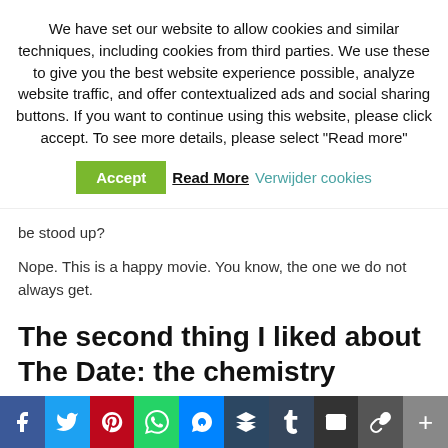We have set our website to allow cookies and similar techniques, including cookies from third parties. We use these to give you the best website experience possible, analyze website traffic, and offer contextualized ads and social sharing buttons. If you want to continue using this website, please click accept. To see more details, please select “Read more”
[Figure (other): Cookie consent buttons: green Accept button, bold Read More link, and teal Verwijder cookies link]
be stood up?
Nope. This is a happy movie. You know, the one we do not always get.
The second thing I liked about The Date: the chemistry
What can I say about their chemistry? You will feel it. Big time. And you will want them to end up together.
[Figure (other): Social sharing bar with icons: Facebook, Twitter, Pinterest, WhatsApp, Messenger, Buffer, Tumblr, Email, Copy link, Plus]